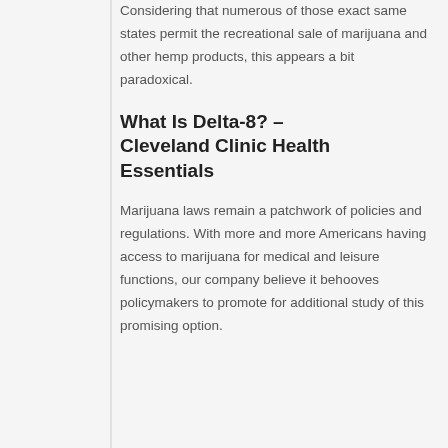Considering that numerous of those exact same states permit the recreational sale of marijuana and other hemp products, this appears a bit paradoxical.
What Is Delta-8? – Cleveland Clinic Health Essentials
Marijuana laws remain a patchwork of policies and regulations. With more and more Americans having access to marijuana for medical and leisure functions, our company believe it behooves policymakers to promote for additional study of this promising option.